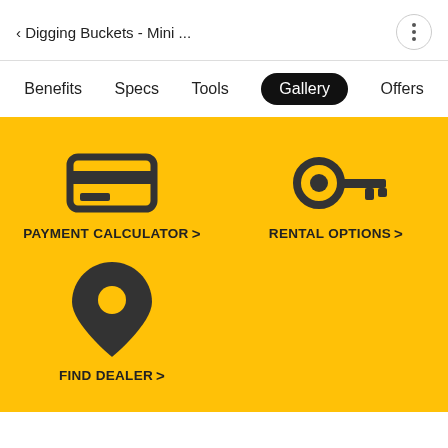< Digging Buckets - Mini ...
Benefits
Specs
Tools
Gallery
Offers
[Figure (infographic): Yellow section with three tool icons: Payment Calculator (credit card icon), Rental Options (key icon), Find Dealer (location pin icon)]